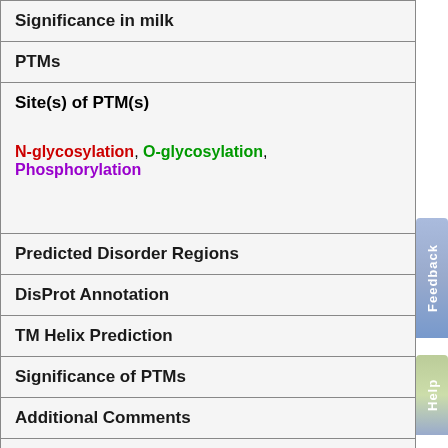| Significance in milk |
| PTMs |
| Site(s) of PTM(s)

N-glycosylation, O-glycosylation, Phosphorylation |
| Predicted Disorder Regions |
| DisProt Annotation |
| TM Helix Prediction |
| Significance of PTMs |
| Additional Comments |
| Linking IDs |